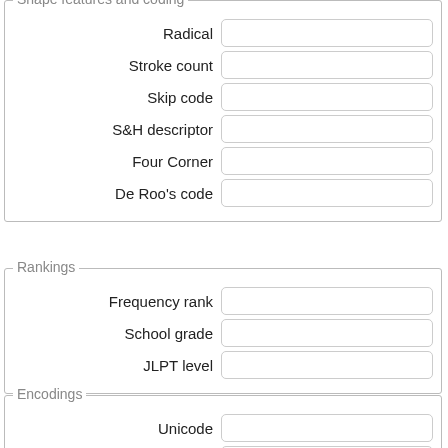Shape features and coding
Radical
Stroke count
Skip code
S&H descriptor
Four Corner
De Roo's code
Rankings
Frequency rank
School grade
JLPT level
Encodings
Unicode
JIS 208
JIS 212
JIS 213